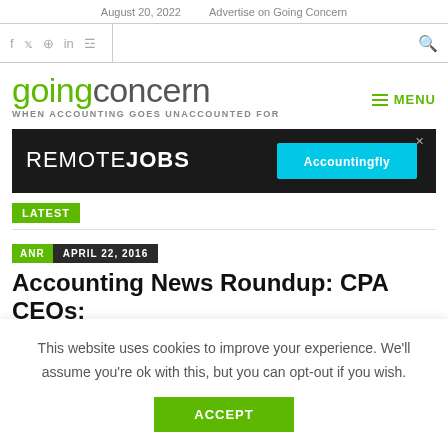August 20, 2022    Advertise on Going Concern
goingconcern — WHEN ACCOUNTING GOES UNACCOUNTED FOR
[Figure (infographic): Advertisement banner: REMOTE JOBS — Accountingfly]
LATEST
ANR  APRIL 22, 2016
Accounting News Roundup: CPA CEOs:
This website uses cookies to improve your experience. We'll assume you're ok with this, but you can opt-out if you wish.